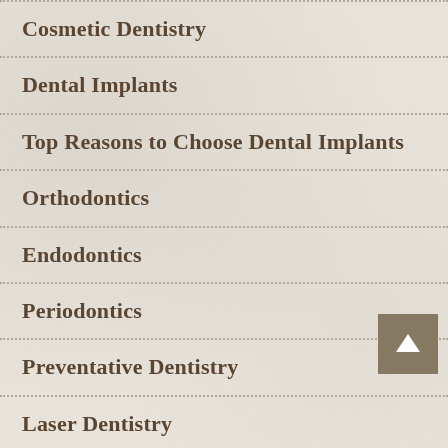Cosmetic Dentistry
Dental Implants
Top Reasons to Choose Dental Implants
Orthodontics
Endodontics
Periodontics
Preventative Dentistry
Laser Dentistry